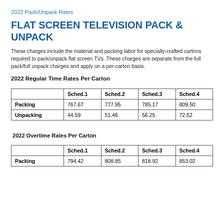2022 Pack/Unpack Rates
FLAT SCREEN TELEVISION PACK & UNPACK
These charges include the material and packing labor for specially-crafted cartons required to pack/unpack flat screen TVs. These charges are separate from the full pack/full unpack charges and apply on a per-carton basis.
2022 Regular Time Rates Per Carton
|  | Sched.1 | Sched.2 | Sched.3 | Sched.4 |
| --- | --- | --- | --- | --- |
| Packing | 767.67 | 777.95 | 785.17 | 809.50 |
| Unpacking | 44.59 | 51.46 | 56.25 | 72.52 |
2022 Overtime Rates Per Carton
|  | Sched.1 | Sched.2 | Sched.3 | Sched.4 |
| --- | --- | --- | --- | --- |
| Packing | 794.42 | 808.85 | 818.92 | 853.02 |